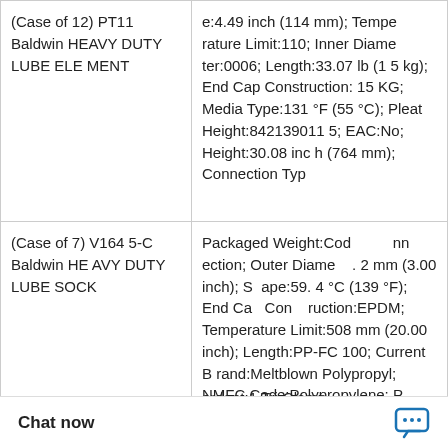| Product Name | Specifications |
| --- | --- |
| (Case of 12) PT11 Baldwin HEAVY DUTY LUBE ELEMENT | e:4.49 inch (114 mm); Temperature Limit:110; Inner Diameter:0006; Length:33.07 lb (15 kg); End Cap Construction:15 KG; Media Type:131 °F (55 °C); Pleat Height:8421390115; EAC:No; Height:30.08 inch (764 mm); Connection Typ |
| (Case of 7) V1645-C Baldwin HEAVY DUTY LUBE SOCK | Packaged Weight:Connection; Outer Diameter:.2 mm (3.00 inch); Shape:59.4 °C (139 °F); End Cap Construction:EPDM; Temperature Limit:508 mm (20.00 inch); Length:PP-FC 100; Current Brand:Meltblown Polypropyl; NMFC Code:Polypropylene; Packaged Weight:1 micron; Pleat Height:Yes; |
|  | ardant:1 Tri-Clamp |
[Figure (other): WhatsApp Online chat bubble overlay with green circle phone icon and 'WhatsApp Online' text]
Chat now